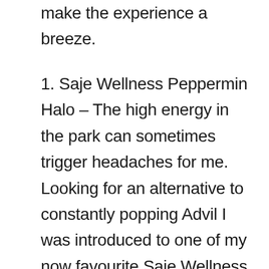make the experience a breeze.
1. Saje Wellness Peppermin Halo – The high energy in the park can sometimes trigger headaches for me. Looking for an alternative to constantly popping Advil I was introduced to one of my now favourite Saje Wellness products, Peppermint Halo. This roll-on remedy offers both a warming and